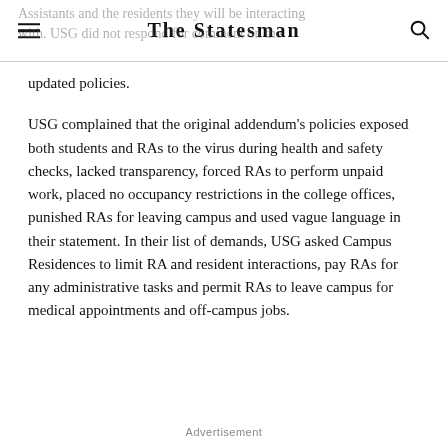The Statesman
Assistants and the residents they will be interacting with. USG did not respond for comment on the updated policies.
USG complained that the original addendum's policies exposed both students and RAs to the virus during health and safety checks, lacked transparency, forced RAs to perform unpaid work, placed no occupancy restrictions in the college offices, punished RAs for leaving campus and used vague language in their statement. In their list of demands, USG asked Campus Residences to limit RA and resident interactions, pay RAs for any administrative tasks and permit RAs to leave campus for medical appointments and off-campus jobs.
Advertisement